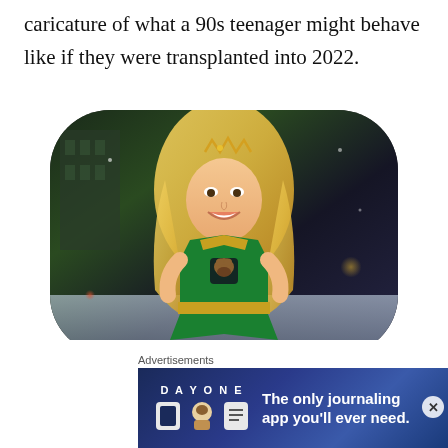caricature of what a 90s teenager might behave like if they were transplanted into 2022.
[Figure (photo): Rebel Wilson in a green and gold cheerleader costume with blonde curly hair, smiling, from the 2022 film Senior Year. Photo has rounded rectangle/pill-shaped crop.]
Senior Year (2022) – Rebel Wilson
Sometimes you can see a glimmer of an idea there, like in a scene where Stephanie has to have i
Advertisements
[Figure (screenshot): Day One journaling app advertisement banner with dark blue starry background, app icons, and text: 'The only journaling app you'll ever need.']